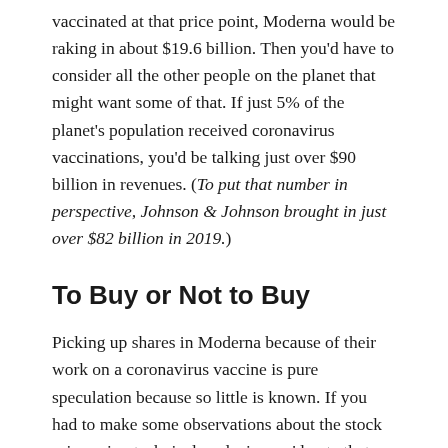vaccinated at that price point, Moderna would be raking in about $19.6 billion. Then you'd have to consider all the other people on the planet that might want some of that. If just 5% of the planet's population received coronavirus vaccinations, you'd be talking just over $90 billion in revenues. (To put that number in perspective, Johnson & Johnson brought in just over $82 billion in 2019.)
To Buy or Not to Buy
Picking up shares in Moderna because of their work on a coronavirus vaccine is pure speculation because so little is known. If you had to make some observations about the stock price using technical analysis, you'd note that volume has increased significantly, yet today's stock price still sits under the April 2019 high of just over $26 per share. Timing the market is a fool's game, so you're better off dollar cost